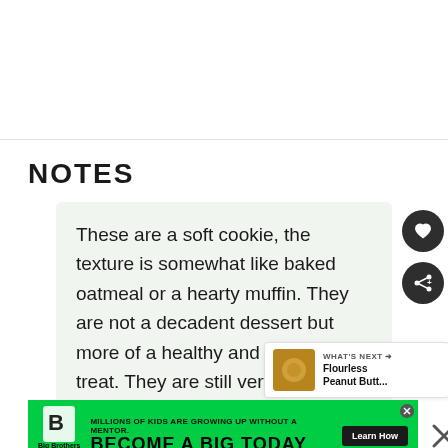[Figure (other): Top white section with light gray area, separated by horizontal rule]
NOTES
These are a soft cookie, the texture is somewhat like baked oatmeal or a hearty muffin. They are not a decadent dessert but more of a healthy and nutritious treat. They are still very yummy and satisfying they would definitely recommend adding the
[Figure (other): WHAT'S NEXT banner with Flourless Peanut Butt... thumbnail]
[Figure (other): Big Brothers Big Sisters advertisement: MILLIONS OF KIDS ARE GROWING UP WITHOUT A MENTOR. BECOME A BIG TODAY. Learn How.]